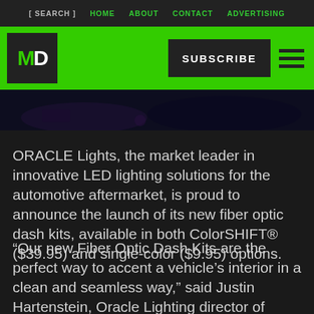[ SEARCH ]  HOME  ABOUT  CONTACT  ADVERTISING
[Figure (logo): MD logo on green header bar with SUBSCRIBE button and hamburger menu]
[Figure (photo): Dark automotive interior dashboard photo strip]
ORACLE Lights, the market leader in innovative LED lighting solutions for the automotive aftermarket, is proud to announce the launch of its new fiber optic dash kits, available in both ColorSHIFT® ($39.95) and single-color ($9.95) options.
“Our new Fiber Optic Dash Kits are the perfect way to accent a vehicle’s interior in a clean and seamless way,” said Justin Hartenstein, Oracle Lighting director of